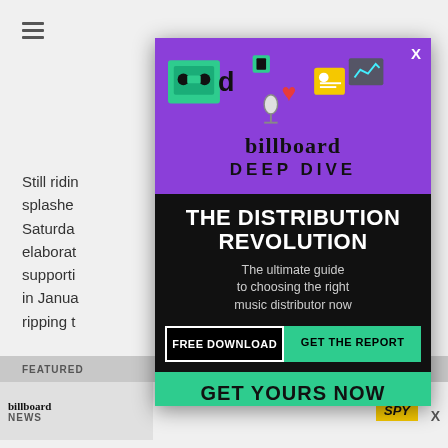Still riding ... and splashed ... Saturday ... and an elaborate ... ur, supporting ... es out in January ... the act ripping t...
FEATURED
[Figure (screenshot): Billboard Deep Dive ad overlay: 'THE DISTRIBUTION REVOLUTION – The ultimate guide to choosing the right music distributor now. FREE DOWNLOAD | GET THE REPORT. GET YOURS NOW']
billboard NEWS
X